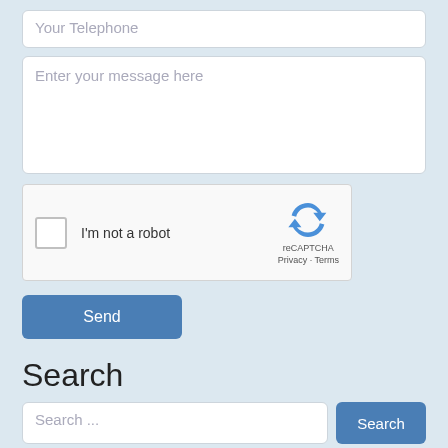[Figure (screenshot): A form input field with placeholder text 'Your Telephone']
[Figure (screenshot): A textarea input field with placeholder text 'Enter your message here']
[Figure (screenshot): A reCAPTCHA widget with checkbox labeled 'I'm not a robot' and the reCAPTCHA logo with Privacy and Terms links]
[Figure (screenshot): A blue 'Send' button]
Search
[Figure (screenshot): A search bar with placeholder 'Search ...' and a blue 'Search' button]